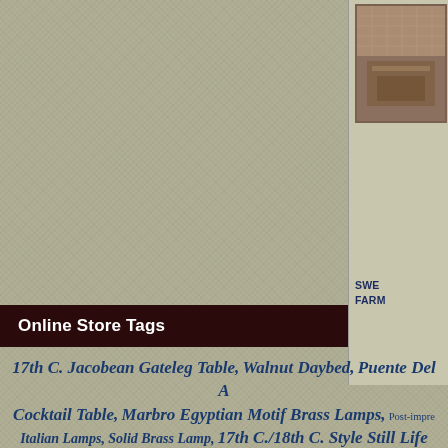[Figure (photo): Partial view of a room/furniture photo in the upper right corner panel]
SWE... FARM...
Online Store Tags
17th C. Jacobean Gateleg Table, Walnut Daybed, Puente Del A... Cocktail Table, Marbro Egyptian Motif Brass Lamps, Post-impre... Italian Lamps, Solid Brass Lamp, 17th C./18th C. Style Still Life..., Concrete Urns Planters, French Cameo Art Deco Glass Vase, 18... Fellman, Mid-20th C. Lamp, Crystal Paperweight, Pineapple C... Superieure Des Beaux Arts Academic Drawings, Antique Iro... Indian Highly Carved Rosewood Chair, C.1920 Fortuny... Lamp, Ikebana Pottery Vessel Cranes, Mid-century Design, Elizabethan R... Benches, Alabaster Tang-style Horse, Antique French Ticking Ano... Daybed, Mid-century Club Chairs, Japanese, Louis XVI, Tufte...